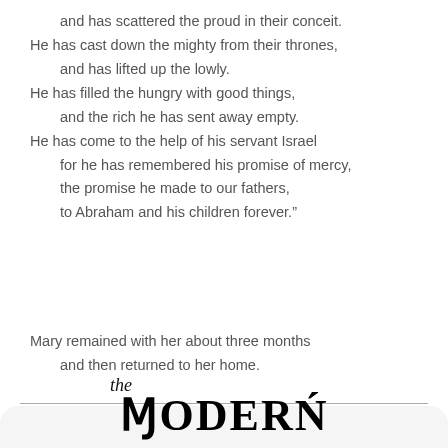and has scattered the proud in their conceit.
He has cast down the mighty from their thrones,
and has lifted up the lowly.
He has filled the hungry with good things,
and the rich he has sent away empty.
He has come to the help of his servant Israel
for he has remembered his promise of mercy,
the promise he made to our fathers,
to Abraham and his children forever."
Mary remained with her about three months
and then returned to her home.
[Figure (logo): The Modern Psalmist Alpha logo — cursive 'the' above large gothic/serif uppercase MODERN, then cursive 'Psalmist' with blue cursive 'alpha' beside it]